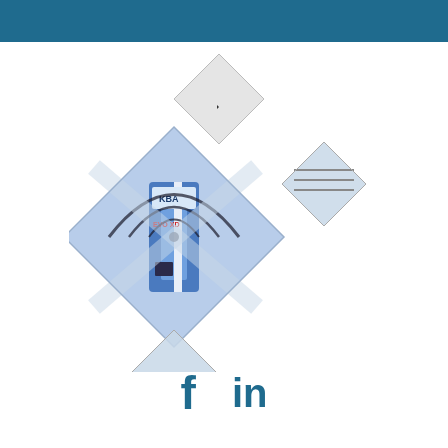[Figure (illustration): KBA logo-shaped collage of diamond/rhombus panels showing a blue KBA EVO XD printing machine and industrial printing equipment, arranged in a geometric diamond pattern with a WiFi/signal arc overlay graphic]
f  in